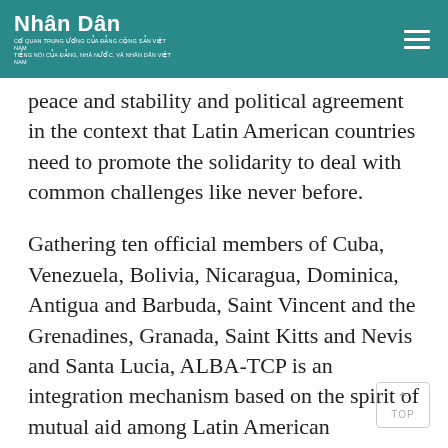Nhân Dân
peace and stability and political agreement in the context that Latin American countries need to promote the solidarity to deal with common challenges like never before.
Gathering ten official members of Cuba, Venezuela, Bolivia, Nicaragua, Dominica, Antigua and Barbuda, Saint Vincent and the Grenadines, Granada, Saint Kitts and Nevis and Santa Lucia, ALBA-TCP is an integration mechanism based on the spirit of mutual aid among Latin American countries.
This is considered an alternative to the Free Trade Area of the Americas (FTAA) which was proposed by the US, but failed because it did